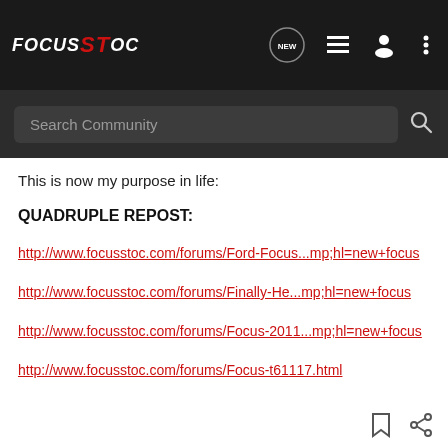FOCUS ST OC — Navigation bar with logo and icons
Search Community
This is now my purpose in life:
QUADRUPLE REPOST:
http://www.focusstoc.com/forums/Ford-Focus...mp;hl=new+focus
http://www.focusstoc.com/forums/Finally-He...mp;hl=new+focus
http://www.focusstoc.com/forums/Focus-2011...mp;hl=new+focus
http://www.focusstoc.com/forums/Focus-t61117.html